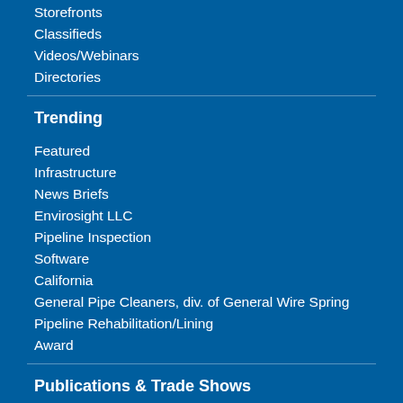Storefronts
Classifieds
Videos/Webinars
Directories
Trending
Featured
Infrastructure
News Briefs
Envirosight LLC
Pipeline Inspection
Software
California
General Pipe Cleaners, div. of General Wire Spring
Pipeline Rehabilitation/Lining
Award
Publications & Trade Shows
cleaner.com
digdifferent.com